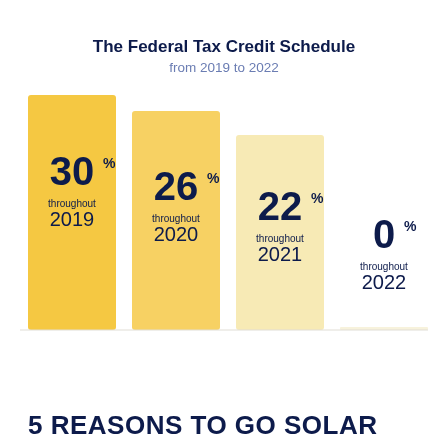[Figure (bar-chart): The Federal Tax Credit Schedule from 2019 to 2022]
5 REASONS TO GO SOLAR